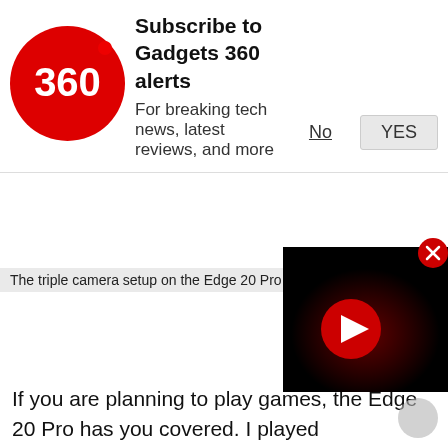[Figure (logo): Gadgets 360 red circular logo with '360' text in white]
Subscribe to Gadgets 360 alerts
For breaking tech news, latest reviews, and more
No   YES
The triple camera setup on the Edge 20 Pro is quite v…
[Figure (screenshot): Video thumbnail showing a dark scene with a red play button in the center]
If you are planning to play games, the Edge 20 Pro has you covered. I played Battlegrounds Mobile India (BGMI) which defaulted to the HD graphics and High